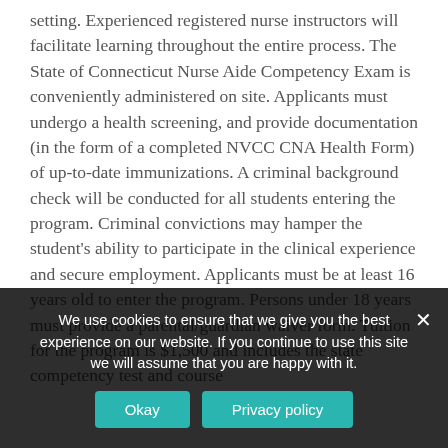setting. Experienced registered nurse instructors will facilitate learning throughout the entire process. The State of Connecticut Nurse Aide Competency Exam is conveniently administered on site. Applicants must undergo a health screening, and provide documentation (in the form of a completed NVCC CNA Health Form) of up-to-date immunizations. A criminal background check will be conducted for all students entering the program. Criminal convictions may hamper the student's ability to participate in the clinical experience and secure employment. Applicants must be at least 16 years old to enter the program. Persons under 18 years must provide a parental/guardian waiver form. Tuition for the program is $1,500 and includes the state competency test and course
We use cookies to ensure that we give you the best experience on our website. If you continue to use this site we will assume that you are happy with it.